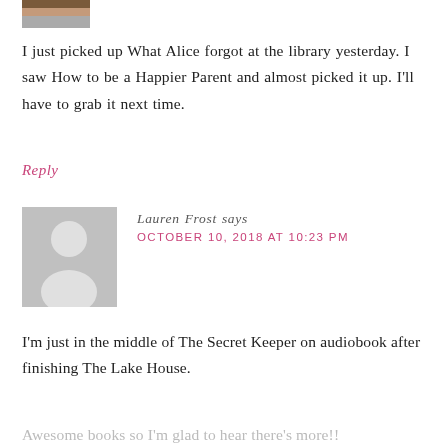[Figure (photo): Partial view of a person's photo avatar at top left, cropped]
I just picked up What Alice forgot at the library yesterday. I saw How to be a Happier Parent and almost picked it up. I'll have to grab it next time.
Reply
[Figure (illustration): Gray placeholder avatar silhouette for Lauren Frost]
Lauren Frost says
OCTOBER 10, 2018 AT 10:23 PM
I'm just in the middle of The Secret Keeper on audiobook after finishing The Lake House.
Awesome books so I'm glad to hear there's more!!